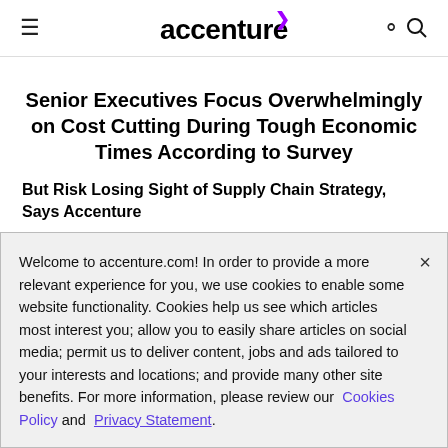accenture
Senior Executives Focus Overwhelmingly on Cost Cutting During Tough Economic Times According to Survey
But Risk Losing Sight of Supply Chain Strategy, Says Accenture
NEW YORK, Feb. 6, 2002 – According to a survey released today by Accenture, 80 percent of executives
Welcome to accenture.com! In order to provide a more relevant experience for you, we use cookies to enable some website functionality. Cookies help us see which articles most interest you; allow you to easily share articles on social media; permit us to deliver content, jobs and ads tailored to your interests and locations; and provide many other site benefits. For more information, please review our Cookies Policy and Privacy Statement.